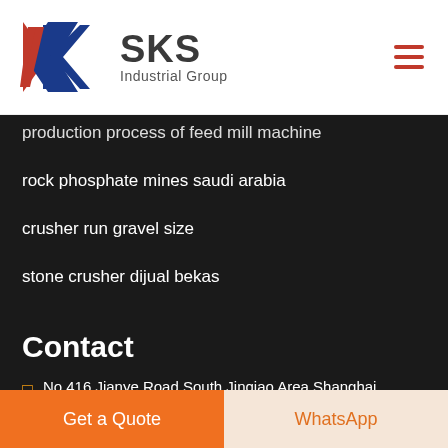[Figure (logo): SKS Industrial Group logo with stylized K in red and blue, company name SKS in dark gray, subtitle Industrial Group]
production process of feed mill machine
rock phosphate mines saudi arabia
crusher run gravel size
stone crusher dijual bekas
Contact
No.416 Jianye Road South Jinqiao Area Shanghai, China